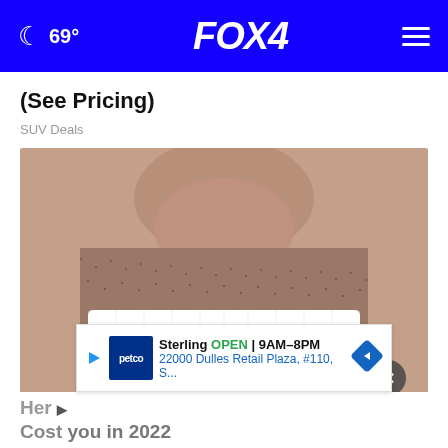🌙 69° FOX 4
(See Pricing)
SUV Deals
[Figure (photo): Close-up photo of a man's mouth showing bright white teeth/dental veneers with stubble/beard visible around the mouth area]
Sterling OPEN 9AM–8PM 22000 Dulles Retail Plaza, #110, S...
Here Cost you in 2022